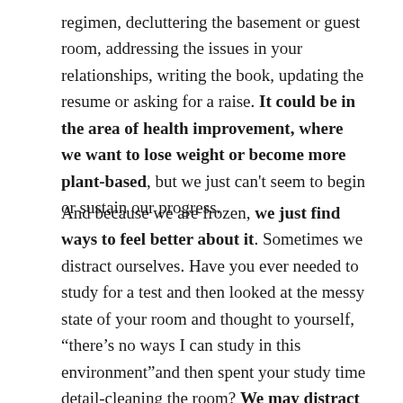regimen, decluttering the basement or guest room, addressing the issues in your relationships, writing the book, updating the resume or asking for a raise. It could be in the area of health improvement, where we want to lose weight or become more plant-based, but we just can't seem to begin or sustain our progress.
And because we are frozen, we just find ways to feel better about it. Sometimes we distract ourselves. Have you ever needed to study for a test and then looked at the messy state of your room and thought to yourself, "there's no ways I can study in this environment"and then spent your study time detail-cleaning the room? We may distract ourselves with lounging in front of the TV, or spending hours on Facebook or Instagram. Numbing out with sugar, caffeine, smoking, or alcohol